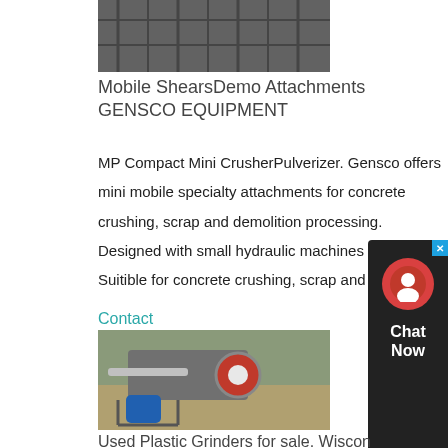[Figure (photo): Industrial machinery/equipment photo, dark tones, structural metalwork visible]
Mobile ShearsDemo Attachments GENSCO EQUIPMENT
MP Compact Mini CrusherPulverizer. Gensco offers mini mobile specialty attachments for concrete crushing, scrap and demolition processing. Designed with small hydraulic machines in mind. Suitible for concrete crushing, scrap and
[Figure (other): Chat Now widget with red circle icon and dark background]
Contact
[Figure (photo): Industrial crusher/grinder machine photographed from above, red wheel visible, blue motor]
Used Plastic Grinders for sale. Wiscon equipmentmore